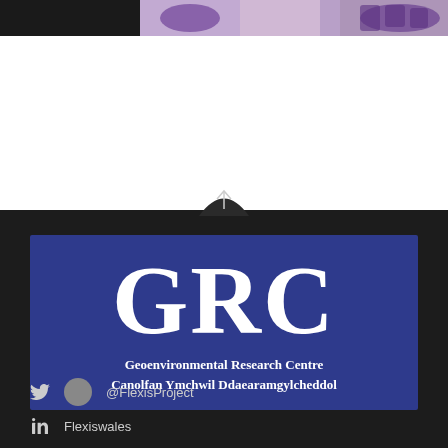[Figure (photo): Partial photo of lab/research activity with purple gloves visible at top of page]
[Figure (logo): GRC - Geoenvironmental Research Centre / Canolfan Ymchwil Ddaearamgylcheddol logo on dark blue background with large white letters GRC and full name in Welsh and English]
@FlexisProject
Flexiswales